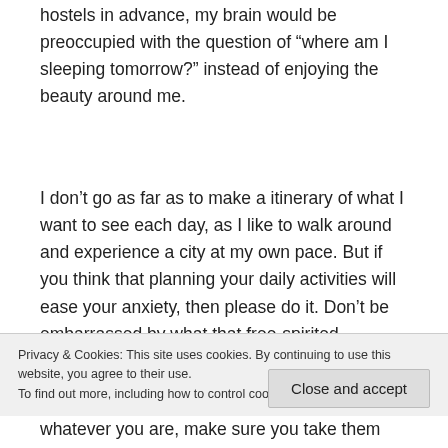hostels in advance, my brain would be preoccupied with the question of “where am I sleeping tomorrow?” instead of enjoying the beauty around me.
I don’t go as far as to make a itinerary of what I want to see each day, as I like to walk around and experience a city at my own pace. But if you think that planning your daily activities will ease your anxiety, then please do it. Don’t be embarrassed by what that free-spirited backpacker might think of your travel methods, because you travel for you!
Privacy & Cookies: This site uses cookies. By continuing to use this website, you agree to their use.
To find out more, including how to control cookies, see here: Cookie Policy
Close and accept
whatever you are, make sure you take them with